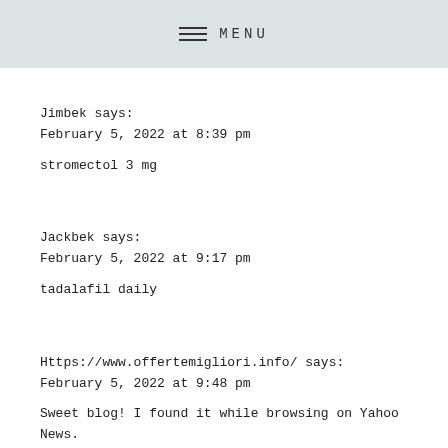MENU
Jimbek says:
February 5, 2022 at 8:39 pm
stromectol 3 mg
Jackbek says:
February 5, 2022 at 9:17 pm
tadalafil daily
Https://www.offertemigliori.info/ says:
February 5, 2022 at 9:48 pm
Sweet blog! I found it while browsing on Yahoo News.
Do you have any tips on how to get listed